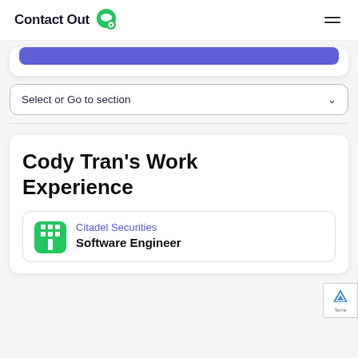ContactOut
[Figure (screenshot): Partial blue/purple button bar from a card above the fold]
Select or Go to section
Cody Tran's Work Experience
Citadel Securities
Software Engineer